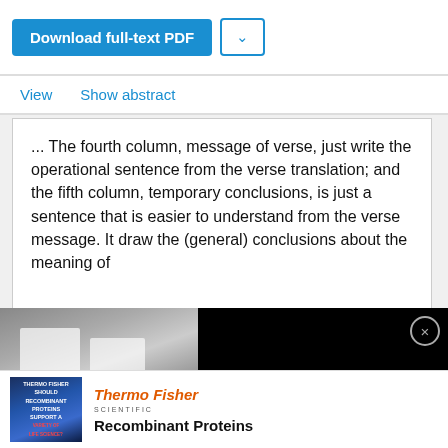[Figure (screenshot): Download full-text PDF button with dropdown arrow, UI web interface element]
View   Show abstract
... The fourth column, message of verse, just write the operational sentence from the verse translation; and the fifth column, temporary conclusions, is just a sentence that is easier to understand from the verse message. It draw the (general) conclusions about the meaning of
[Figure (photo): Video thumbnail showing scientists in lab coats working in a laboratory, with overlay text: Top three ways social proof can boost your organic reach and engagement]
[Figure (advertisement): ThermoFisher Scientific advertisement for Recombinant Proteins]